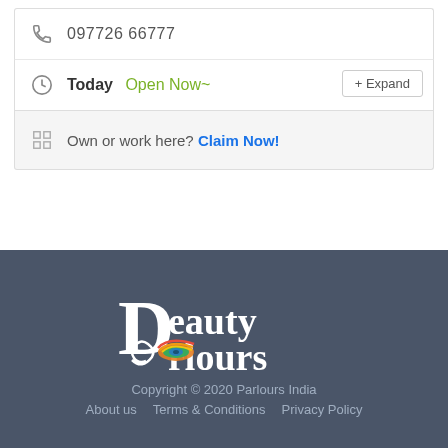097726 66777
Today  Open Now~
Own or work here? Claim Now!
[Figure (logo): Beauty Parlours India logo with colorful eye graphic and white text on dark blue-grey background]
Copyright © 2020 Parlours India
About us    Terms & Conditions    Privacy Policy